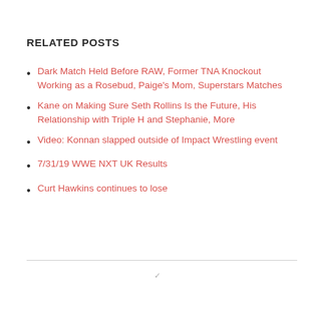RELATED POSTS
Dark Match Held Before RAW, Former TNA Knockout Working as a Rosebud, Paige's Mom, Superstars Matches
Kane on Making Sure Seth Rollins Is the Future, His Relationship with Triple H and Stephanie, More
Video: Konnan slapped outside of Impact Wrestling event
7/31/19 WWE NXT UK Results
Curt Hawkins continues to lose
✓